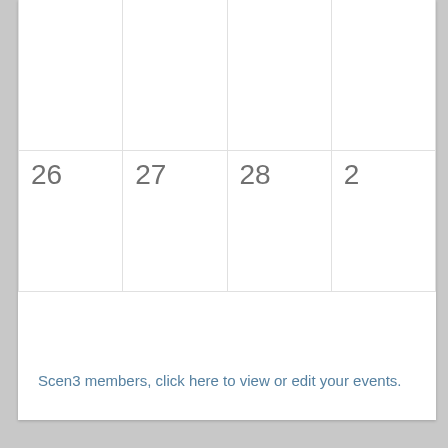|  |  |  |  |
| 26 | 27 | 28 | 2… |
Scen3 members, click here to view or edit your events.